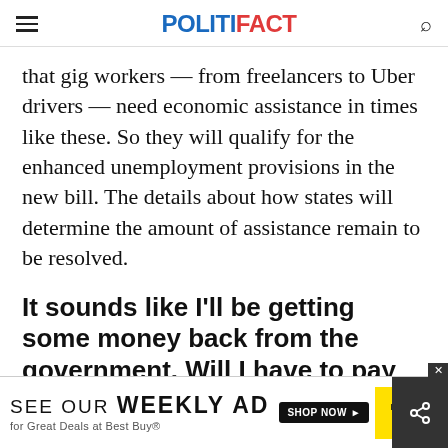POLITIFACT
that gig workers — from freelancers to Uber drivers — need economic assistance in times like these. So they will qualify for the enhanced unemployment provisions in the new bill. The details about how states will determine the amount of assistance remain to be resolved.
It sounds like I'll be getting some money back from the government. Will I have to pay taxes on it?
No. B... a tax ... ce on